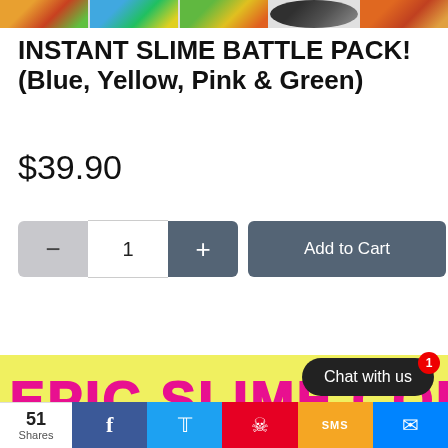[Figure (screenshot): Horizontal strip of 5 product thumbnail images at the top of the page]
INSTANT SLIME BATTLE PACK! (Blue, Yellow, Pink & Green)
$39.90
[Figure (screenshot): Quantity selector with minus button, quantity 1, plus button, and Add to Cart button]
View Details
[Figure (screenshot): Yellow banner with pink bubbly text reading EPIC SLIME COLOR]
[Figure (screenshot): Dark rounded chat bubble with 'Chat with us' text and red notification badge showing 1]
51 Shares | Facebook | Twitter | Pinterest | SMS | Messenger